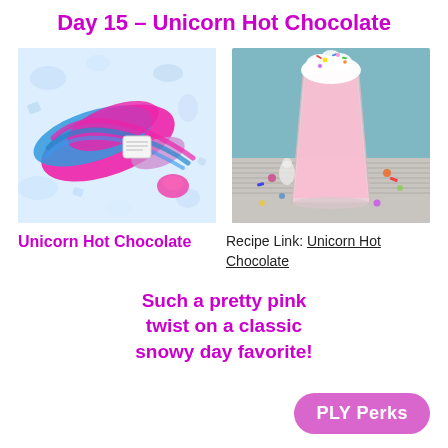Day 15 – Unicorn Hot Chocolate
[Figure (photo): Skein of yarn in blue, pink, and purple colors arranged on sparkly crystal background with a small label]
[Figure (photo): Tall glass of pink unicorn hot chocolate topped with whipped cream and colorful sprinkles, on a striped surface with confetti]
Unicorn Hot Chocolate
Recipe Link: Unicorn Hot Chocolate
Such a pretty pink twist on a classic snowy day favorite!
PLY Perks